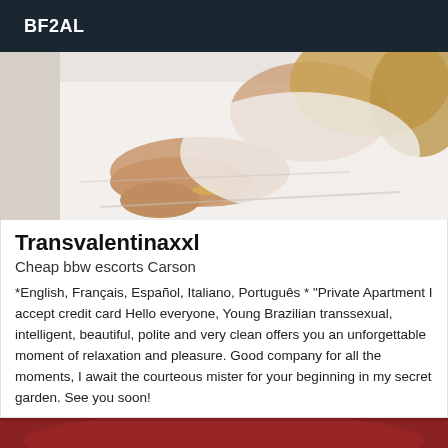BF2AL
[Figure (photo): Person lying on white bedding, wearing a bracelet, blonde hair visible]
Transvalentinaxxl
Cheap bbw escorts Carson
*English, Français, Español, Italiano, Português * "Private Apartment I accept credit card Hello everyone, Young Brazilian transsexual, intelligent, beautiful, polite and very clean offers you an unforgettable moment of relaxation and pleasure. Good company for all the moments, I await the courteous mister for your beginning in my secret garden. See you soon!
[Figure (photo): Partial view of person with red/dark fabric, bottom of page]